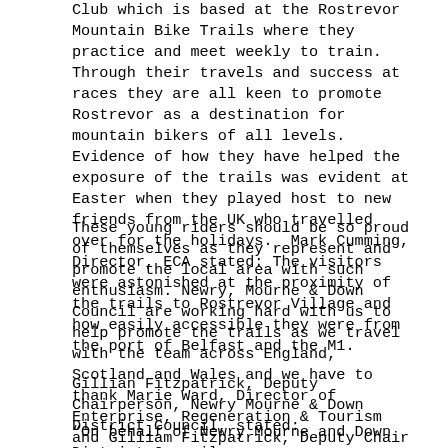Club which is based at the Rostrevor Mountain Bike Trails where they practice and meet weekly to train. Through their travels and success at races they are all keen to promote Rostrevor as a destination for mountain bikers of all levels. Evidence of how they have helped the exposure of the trails was evident at Easter when they played host to new friends from the UK who travelled over for the holidays.  Mark Cumming, Director, ECA stated: The visitors were astonished at the proximity of the trails to Rostrevor Village and how easily accessible they were from the port of Belfast and the M1.
These young riders should be so proud of themselves as they represent and promote the local area with such enthusiasm. Newry, Mourne & Down Council are working hard with us to help promote the trails as we travel with the team across England, Scotland and Wales and we have to thank Marie Ward, Director of Enterprise, Regeneration & Tourism and Gilliam Fitzpatrick, Deputy Chair for their enthusiasm and continued support".
Gillian Fitzpatrick, Deputy Chairperson, Newry Mourne & Down District Council, stated:
“On behalf of Newry Mourne and Down District Council